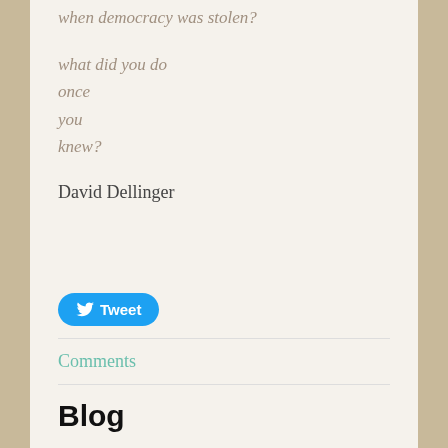when democracy was stolen?
what did you do
once
you
knew?
David Dellinger
[Figure (other): Tweet button with Twitter bird icon]
Comments
Blog